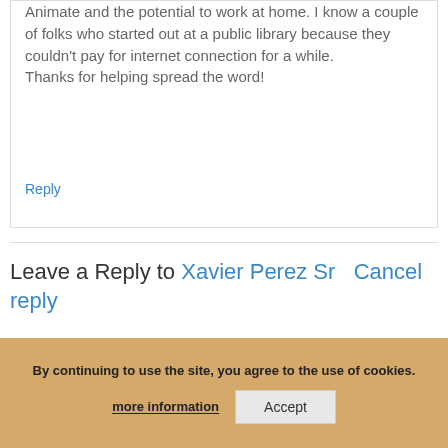Animate and the potential to work at home. I know a couple of folks who started out at a public library because they couldn't pay for internet connection for a while.
Thanks for helping spread the word!
Reply
Leave a Reply to Xavier Perez Sr Cancel reply
By continuing to use the site, you agree to the use of cookies.
more information
Accept